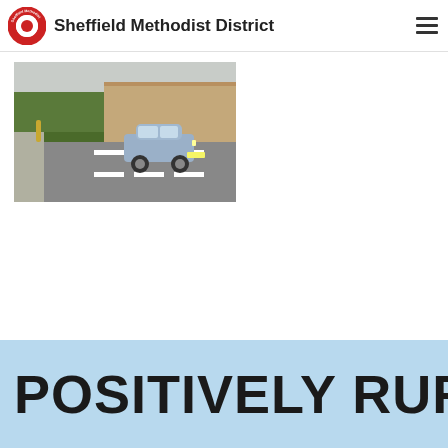Sheffield Methodist District
[Figure (photo): A silver estate car driving along a road in a suburban or rural setting, with bushes and buildings visible in the background. The road has white line markings.]
POSITIVELY RURAL: